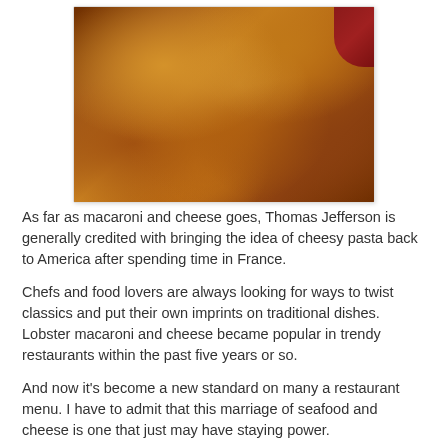[Figure (photo): Close-up photo of macaroni and cheese with golden breadcrumb topping in a white bowl, with dark red background visible in upper right]
As far as macaroni and cheese goes, Thomas Jefferson is generally credited with bringing the idea of cheesy pasta back to America after spending time in France.
Chefs and food lovers are always looking for ways to twist classics and put their own imprints on traditional dishes. Lobster macaroni and cheese became popular in trendy restaurants within the past five years or so.
And now it's become a new standard on many a restaurant menu. I have to admit that this marriage of seafood and cheese is one that just may have staying power.